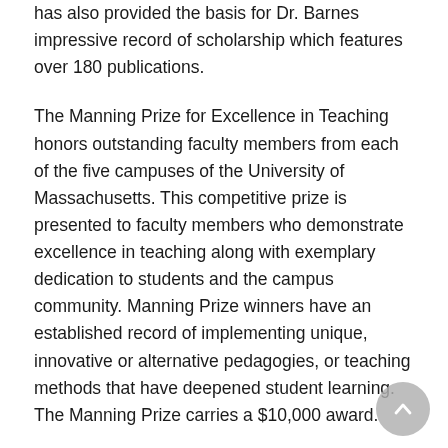has also provided the basis for Dr. Barnes impressive record of scholarship which features over 180 publications.
The Manning Prize for Excellence in Teaching honors outstanding faculty members from each of the five campuses of the University of Massachusetts. This competitive prize is presented to faculty members who demonstrate excellence in teaching along with exemplary dedication to students and the campus community. Manning Prize winners have an established record of implementing unique, innovative or alternative pedagogies, or teaching methods that have deepened student learning. The Manning Prize carries a $10,000 award.
The Manning Prize for Excellence in Teaching was established in 2015 by UMass Lowell alumni Robert and